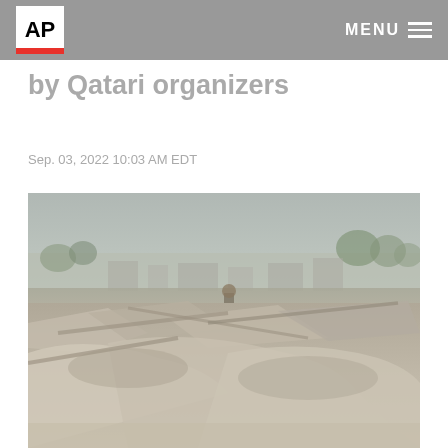AP  MENU
by Qatari organizers
Sep. 03, 2022 10:03 AM EDT
[Figure (photo): A person stands amid rubble and debris of demolished structures, with trees and buildings visible in the background under a hazy sky.]